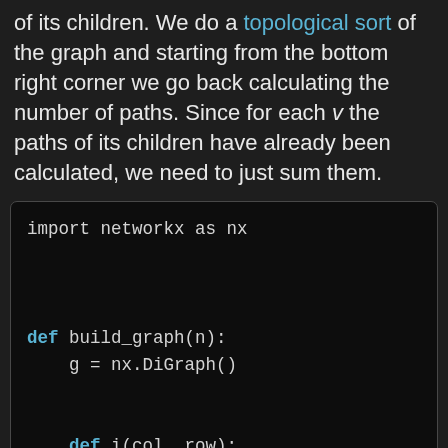of its children. We do a topological sort of the graph and starting from the bottom right corner we go back calculating the number of paths. Since for each v the paths of its children have already been calculated, we need to just sum them.
[Figure (screenshot): Python code block showing: import networkx as nx, def build_graph(n):, g = nx.DiGraph(), def i(col, row):, return n * (row - 1) + c]